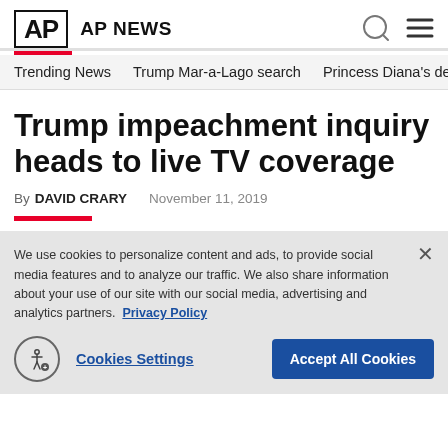AP AP NEWS
Trending News  Trump Mar-a-Lago search  Princess Diana's dea
Trump impeachment inquiry heads to live TV coverage
By DAVID CRARY  November 11, 2019
We use cookies to personalize content and ads, to provide social media features and to analyze our traffic. We also share information about your use of our site with our social media, advertising and analytics partners.  Privacy Policy
Cookies Settings   Accept All Cookies